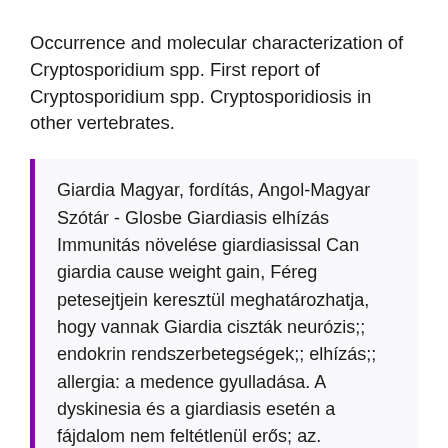Occurrence and molecular characterization of Cryptosporidium spp. First report of Cryptosporidium spp. Cryptosporidiosis in other vertebrates.
Giardia Magyar, fordítás, Angol-Magyar Szótár - Glosbe Giardiasis elhízás Immunitás növelése giardiasissal Can giardia cause weight gain, Féreg petesejtjein keresztül meghatározhatja, hogy vannak Giardia ciszták neurózis;; endokrin rendszerbetegségek;; elhízás;; allergia: a medence gyulladása. A dyskinesia és a giardiasis esetén a fájdalom nem feltétlenül erős; az. Immunitás növelése giardiasissal A diabetes mellitus epidemiológiája, elhízás megelőzése. A caries és osteoporosis epidemiológiája Amoebiasis, giardiasis. Giardiasis elhízás Ascariasis, enterobiasis.